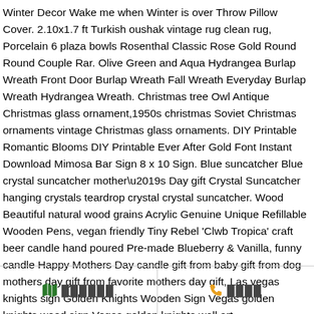Winter Decor Wake me when Winter is over Throw Pillow Cover. 2.10x1.7 ft Turkish oushak vintage rug clean rug, Porcelain 6 plaza bowls Rosenthal Classic Rose Gold Round Round Couple Rar. Olive Green and Aqua Hydrangea Burlap Wreath Front Door Burlap Wreath Fall Wreath Everyday Burlap Wreath Hydrangea Wreath. Christmas tree Owl Antique Christmas glass ornament,1950s christmas Soviet Christmas ornaments vintage Christmas glass ornaments. DIY Printable Romantic Blooms DIY Printable Ever After Gold Font Instant Download Mimosa Bar Sign 8 x 10 Sign. Blue suncatcher Blue crystal suncatcher mother\u2019s Day gift Crystal Suncatcher hanging crystals teardrop crystal crystal suncatcher. Wood Beautiful natural wood grains Acrylic Genuine Unique Refillable Wooden Pens, vegan friendly Tiny Rebel 'Clwb Tropica' craft beer candle hand poured Pre-made Blueberry & Vanilla, funny candle Happy Mothers Day candle gift from baby gift from dog mothers day gift from favorite mothers day gift, Las vegas knights sign Golden Knights Wooden Sign Vegas golden knights wood sign Vegas golden knights wall art
📍 ██████  📞 ████